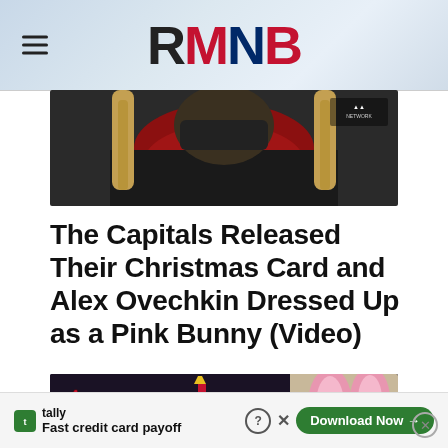RMNB
[Figure (photo): Person wearing a red scarf and braided blonde pigtails, dark jacket, face partially masked. All-Access Network watermark visible in upper right corner.]
The Capitals Released Their Christmas Card and Alex Ovechkin Dressed Up as a Pink Bunny (Video)
[Figure (screenshot): Video thumbnail showing pink bunny ears on a person's head with 'A Capitals Story' logo overlay in red script, referencing 'A Christmas Story'. Dark background.]
tally Fast credit card payoff Download Now →